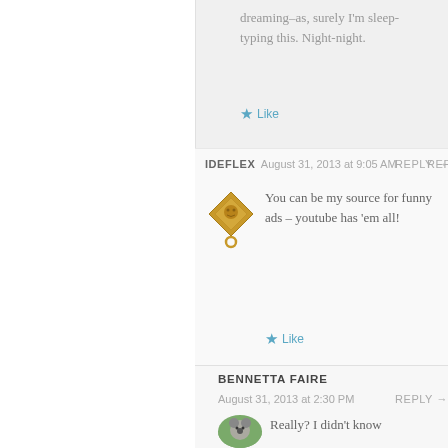dreaming–as, surely I'm sleep-typing this. Night-night.
Like
IDEFLEX  August 31, 2013 at 9:05 AM  REPLY →
You can be my source for funny ads – youtube has 'em all!
Like
BENNETTA FAIRE
August 31, 2013 at 2:30 PM  REPLY →
Really? I didn't know that!! Seems...